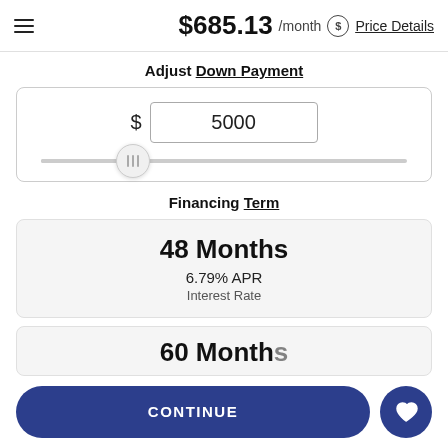$685.13 /month  Price Details
Adjust Down Payment
[Figure (other): Down payment input card with dollar sign, text input showing 5000, and a horizontal slider with thumb at roughly 25% position]
Financing Term
48 Months
6.79% APR
Interest Rate
60 Months (partially visible)
CONTINUE